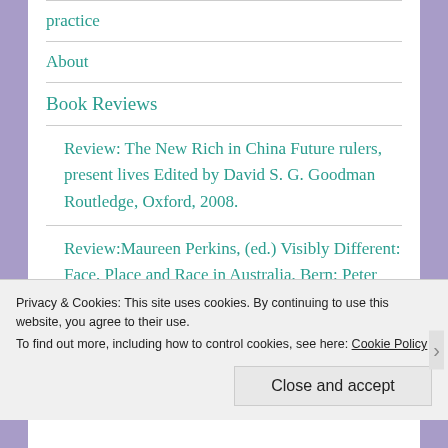practice
About
Book Reviews
Review: The New Rich in China Future rulers, present lives Edited by David S. G. Goodman Routledge, Oxford, 2008.
Review:Maureen Perkins, (ed.) Visibly Different: Face, Place and Race in Australia, Bern: Peter Lang, 2007, 187 pp. US$ 41.95 SFR 50.
Privacy & Cookies: This site uses cookies. By continuing to use this website, you agree to their use.
To find out more, including how to control cookies, see here: Cookie Policy
Close and accept